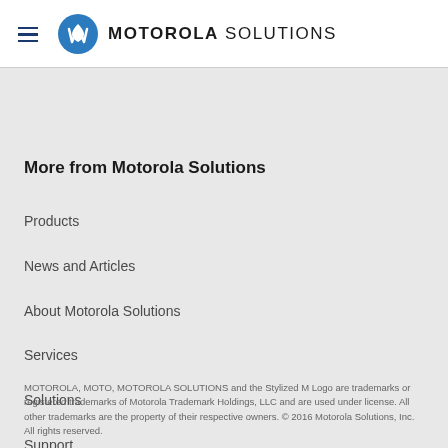MOTOROLA SOLUTIONS
More from Motorola Solutions
Products
News and Articles
About Motorola Solutions
Services
Solutions
Support
MOTOROLA, MOTO, MOTOROLA SOLUTIONS and the Stylized M Logo are trademarks or registered trademarks of Motorola Trademark Holdings, LLC and are used under license. All other trademarks are the property of their respective owners. © 2016 Motorola Solutions, Inc. All rights reserved.